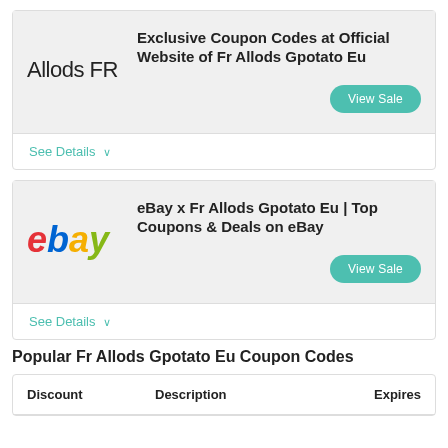[Figure (logo): Allods FR text logo]
Exclusive Coupon Codes at Official Website of Fr Allods Gpotato Eu
View Sale
See Details ∨
[Figure (logo): eBay logo in red, blue, yellow, green]
eBay x Fr Allods Gpotato Eu | Top Coupons & Deals on eBay
View Sale
See Details ∨
Popular Fr Allods Gpotato Eu Coupon Codes
| Discount | Description | Expires |
| --- | --- | --- |